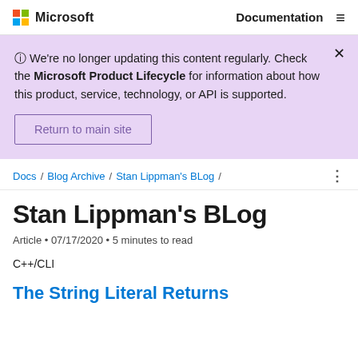Microsoft | Documentation ≡
⊙ We're no longer updating this content regularly. Check the Microsoft Product Lifecycle for information about how this product, service, technology, or API is supported.
Return to main site
Docs / Blog Archive / Stan Lippman's BLog /
Stan Lippman's BLog
Article • 07/17/2020 • 5 minutes to read
C++/CLI
The String Literal Returns